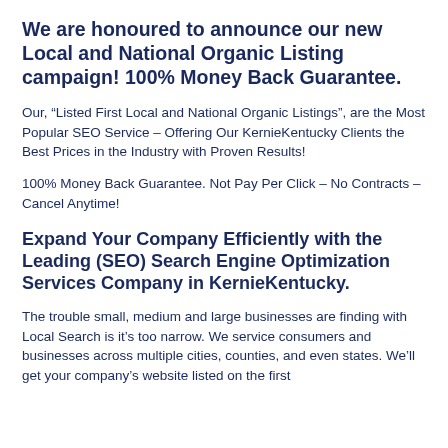We are honoured to announce our new Local and National Organic Listing campaign! 100% Money Back Guarantee.
Our, “Listed First Local and National Organic Listings”, are the Most Popular SEO Service – Offering Our KernieKentucky Clients the Best Prices in the Industry with Proven Results!
100% Money Back Guarantee. Not Pay Per Click – No Contracts – Cancel Anytime!
Expand Your Company Efficiently with the Leading (SEO) Search Engine Optimization Services Company in KernieKentucky.
The trouble small, medium and large businesses are finding with Local Search is it’s too narrow. We service consumers and businesses across multiple cities, counties, and even states. We’ll get your company’s website listed on the first